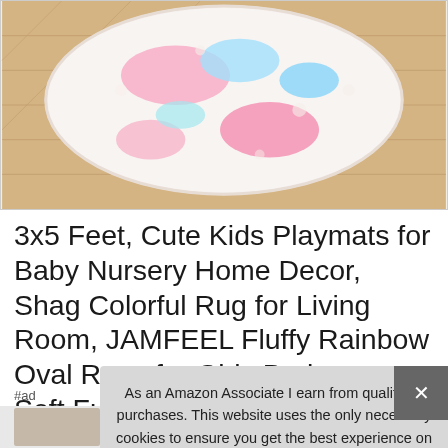[Figure (photo): Round fluffy oval rainbow rug with pink, blue, and white shag on a wooden floor background]
3x5 Feet, Cute Kids Playmats for Baby Nursery Home Decor, Shag Colorful Rug for Living Room, JAMFEEL Fluffy Rainbow Oval Rugs for Girls Bedroom, Soft Fuzzy Carpets for Princess Room
#ad
As an Amazon Associate I earn from qualifying purchases. This website uses the only necessary cookies to ensure you get the best experience on our website. More information
[Figure (photo): Row of small product thumbnail images at the bottom of the page]